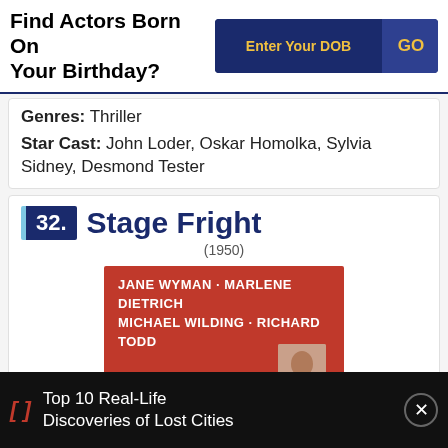Find Actors Born On Your Birthday?
Genres: Thriller
Star Cast: John Loder, Oskar Homolka, Sylvia Sidney, Desmond Tester
32. Stage Fright (1950)
[Figure (photo): Movie poster for Stage Fright (1950) showing actors Jane Wyman, Marlene Dietrich, Michael Wilding, Richard Todd on a red background]
Top 10 Real-Life Discoveries of Lost Cities